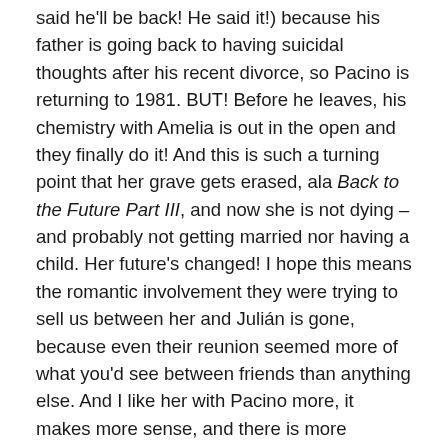said he'll be back! He said it!) because his father is going back to having suicidal thoughts after his recent divorce, so Pacino is returning to 1981. BUT! Before he leaves, his chemistry with Amelia is out in the open and they finally do it! And this is such a turning point that her grave gets erased, ala Back to the Future Part III, and now she is not dying –and probably not getting married nor having a child. Her future's changed! I hope this means the romantic involvement they were trying to sell us between her and Julián is gone, because even their reunion seemed more of what you'd see between friends than anything else. And I like her with Pacino more, it makes more sense, and there is more chemistry. And their love scene was beautifully made. So well done, show.